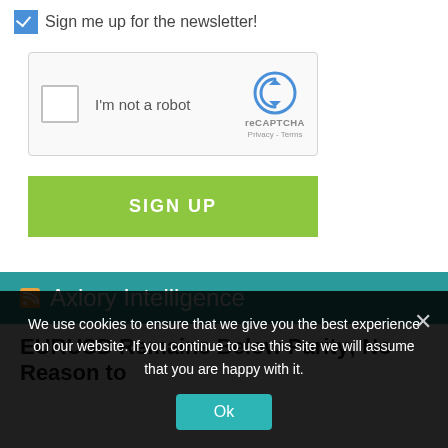Sign me up for the newsletter!
[Figure (screenshot): reCAPTCHA widget box with checkbox labeled 'I'm not a robot' and reCAPTCHA logo with Privacy and Terms links]
SIGN UP
Axiory Intelligence
EURUSD Remains Below Parity; No Reason to
We use cookies to ensure that we give you the best experience on our website. If you continue to use this site we will assume that you are happy with it.
Ok